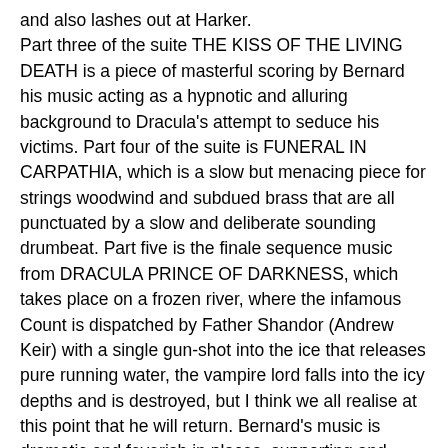and also lashes out at Harker. Part three of the suite THE KISS OF THE LIVING DEATH is a piece of masterful scoring by Bernard his music acting as a hypnotic and alluring background to Dracula's attempt to seduce his victims. Part four of the suite is FUNERAL IN CARPATHIA, which is a slow but menacing piece for strings woodwind and subdued brass that are all punctuated by a slow and deliberate sounding drumbeat. Part five is the finale sequence music from DRACULA PRINCE OF DARKNESS, which takes place on a frozen river, where the infamous Count is dispatched by Father Shandor (Andrew Keir) with a single gun-shot into the ice that releases pure running water, the vampire lord falls into the icy depths and is destroyed, but I think we all realise at this point that he will return. Bernard's music is dramatic and feverish in places, supporting and underlining wonderfully the confrontation between good and evil and the Counts demise. So yes, we have been treated to the Counts music before, but not in a complete form, there have also been excerpts released on GDI when they released a